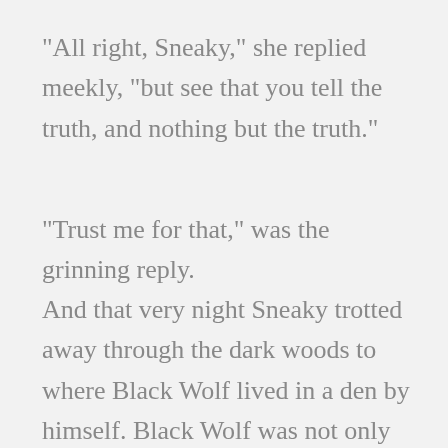"All right, Sneaky," she replied meekly, "but see that you tell the truth, and nothing but the truth."
"Trust me for that," was the grinning reply.
And that very night Sneaky trotted away through the dark woods to where Black Wolf lived in a den by himself. Black Wolf was not only the leader of the pack, but a big powerful creature with hair so long and shaggy that no animal who tried to kill him could bite through it